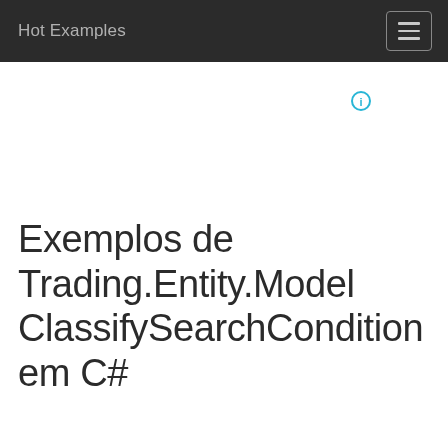Hot Examples
[Figure (other): Info icon circle with letter i, cyan/teal colored]
Exemplos de Trading.Entity.Model ClassifySearchCondition em C#